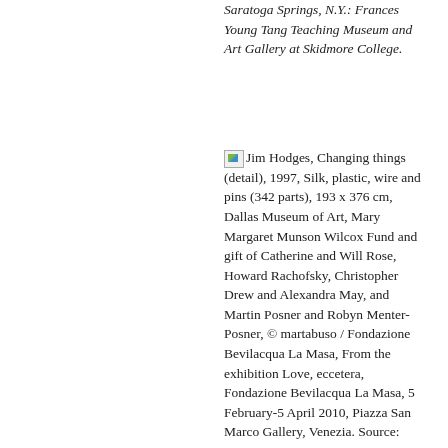Saratoga Springs, N.Y.: Frances Young Tang Teaching Museum and Art Gallery at Skidmore College.
Jim Hodges, Changing things (detail), 1997, Silk, plastic, wire and pins (342 parts), 193 x 376 cm, Dallas Museum of Art, Mary Margaret Munson Wilcox Fund and gift of Catherine and Will Rose, Howard Rachofsky, Christopher Drew and Alexandra May, and Martin Posner and Robyn Menter-Posner, © martabuso / Fondazione Bevilacqua La Masa, From the exhibition Love, eccetera, Fondazione Bevilacqua La Masa, 5 February-5 April 2010, Piazza San Marco Gallery, Venezia. Source: